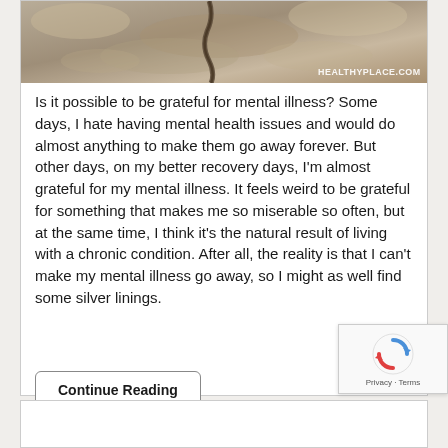[Figure (photo): Close-up photo of cracked dry earth/soil surface with deep crevice, watermarked HEALTHYPLACE.COM]
Is it possible to be grateful for mental illness? Some days, I hate having mental health issues and would do almost anything to make them go away forever. But other days, on my better recovery days, I'm almost grateful for my mental illness. It feels weird to be grateful for something that makes me so miserable so often, but at the same time, I think it's the natural result of living with a chronic condition. After all, the reality is that I can't make my mental illness go away, so I might as well find some silver linings.
Continue Reading
[Figure (other): reCAPTCHA badge with Google reCAPTCHA logo and Privacy · Terms text]
Privacy · Terms